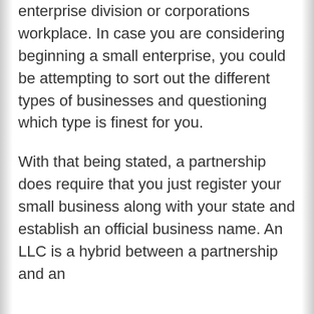enterprise division or corporations workplace. In case you are considering beginning a small enterprise, you could be attempting to sort out the different types of businesses and questioning which type is finest for you.
With that being stated, a partnership does require that you just register your small business along with your state and establish an official business name. An LLC is a hybrid between a partnership and an